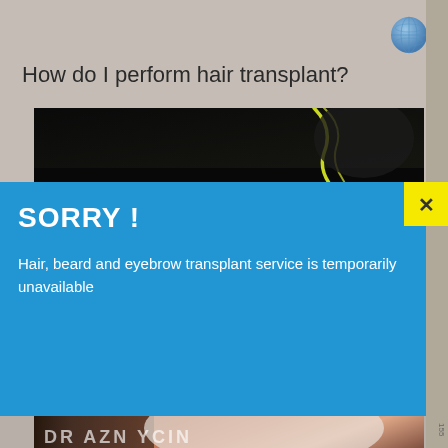How do I perform hair transplant?
[Figure (photo): Dark background photo showing what appears to be a surgical tool or wire against black background]
SORRY !
Hair, beard and eyebrow transplant service is temporarily unavailable
[Figure (photo): Medical photo showing a patient's face with beard transplant markings/procedure, with text overlay showing partial clinic name]
How can I help you?